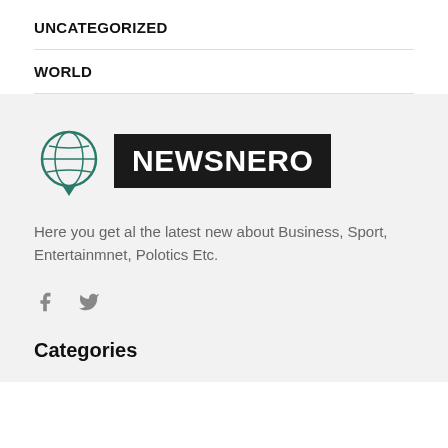UNCATEGORIZED
WORLD
[Figure (logo): NewsNero logo with globe icon and black rectangle containing white text NEWSNERO]
Here you get al the latest new about Business, Sport, Entertainmnet, Polotics Etc.
[Figure (other): Facebook and Twitter social media icons in grey]
Categories